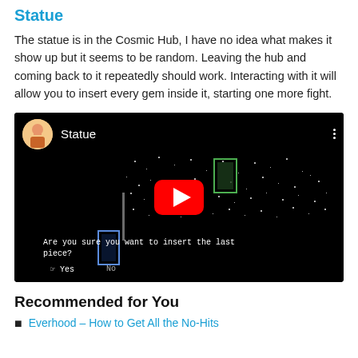Statue
The statue is in the Cosmic Hub, I have no idea what makes it show up but it seems to be random. Leaving the hub and coming back to it repeatedly should work. Interacting with it will allow you to insert every gem inside it, starting one more fight.
[Figure (screenshot): YouTube video embed showing a game screenshot with title 'Statue', a play button overlay, and subtitle text reading 'Are you sure you want to insert the last piece?' with Yes/No options.]
Recommended for You
Everhood – How to Get All the No-Hits